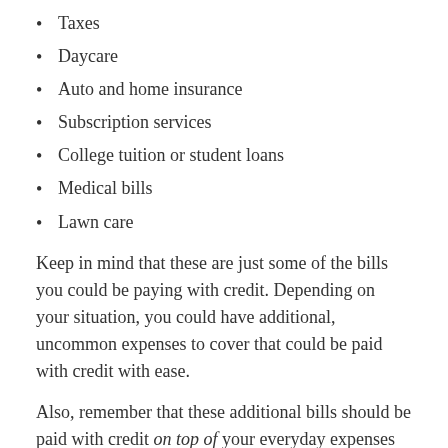Taxes
Daycare
Auto and home insurance
Subscription services
College tuition or student loans
Medical bills
Lawn care
Keep in mind that these are just some of the bills you could be paying with credit. Depending on your situation, you could have additional, uncommon expenses to cover that could be paid with credit with ease.
Also, remember that these additional bills should be paid with credit on top of your everyday expenses like groceries, dining out, gas or bus fare, and miscellaneous spending. Every time you buy something in person or online, you should strive to pay with your rewards card if you can.